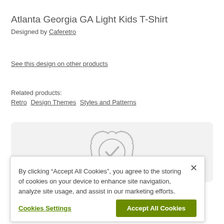Atlanta Georgia GA Light Kids T-Shirt
Designed by Caferetro
See this design on other products
Related products:
Retro Design Themes Styles and Patterns
[Figure (illustration): Gray badge/seal icon with a checkmark inside, displayed on a light gray rounded rectangle background]
By clicking “Accept All Cookies”, you agree to the storing of cookies on your device to enhance site navigation, analyze site usage, and assist in our marketing efforts.
Cookies Settings
Accept All Cookies